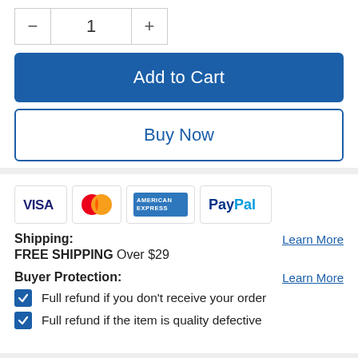[Figure (screenshot): Quantity selector with minus button, value 1, and plus button]
[Figure (screenshot): Add to Cart button, blue filled]
[Figure (screenshot): Buy Now button, white with blue border]
[Figure (infographic): Payment method icons: VISA, MasterCard, American Express, PayPal]
Shipping:
Learn More
FREE SHIPPING Over $29
Buyer Protection:
Learn More
Full refund if you don't receive your order
Full refund if the item is quality defective